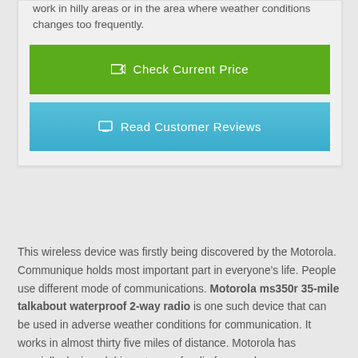work in hilly areas or in the area where weather conditions changes too frequently.
[Figure (other): Green button: Check Current Price]
[Figure (other): Blue button: Read Customer Reviews]
This wireless device was firstly being discovered by the Motorola. Communique holds most important part in everyone's life. People use different mode of communications. Motorola ms350r 35-mile talkabout waterproof 2-way radio is one such device that can be used in adverse weather conditions for communication. It works in almost thirty five miles of distance. Motorola has specially designed this waterproof radio for people